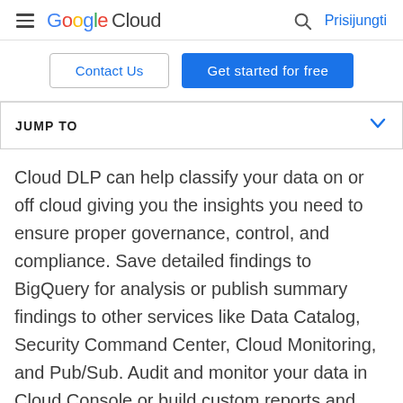Google Cloud | Prisijungti
Contact Us | Get started for free
JUMP TO
Cloud DLP can help classify your data on or off cloud giving you the insights you need to ensure proper governance, control, and compliance. Save detailed findings to BigQuery for analysis or publish summary findings to other services like Data Catalog, Security Command Center, Cloud Monitoring, and Pub/Sub. Audit and monitor your data in Cloud Console or build custom reports and dashboards using Google Data Studio or your tool of choice.